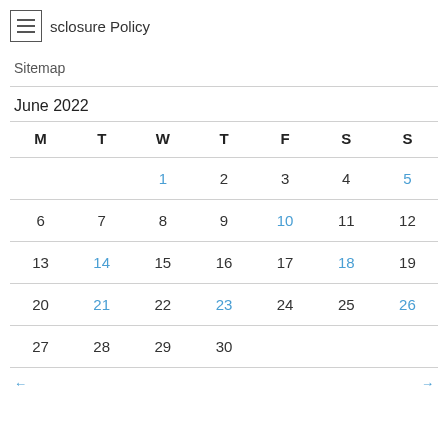≡ sclosure Policy
Sitemap
June 2022
| M | T | W | T | F | S | S |
| --- | --- | --- | --- | --- | --- | --- |
|  |  | 1 | 2 | 3 | 4 | 5 |
| 6 | 7 | 8 | 9 | 10 | 11 | 12 |
| 13 | 14 | 15 | 16 | 17 | 18 | 19 |
| 20 | 21 | 22 | 23 | 24 | 25 | 26 |
| 27 | 28 | 29 | 30 |  |  |  |